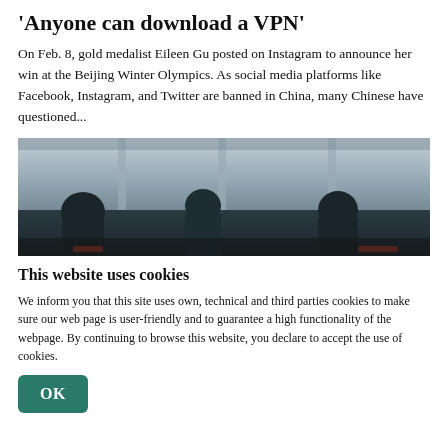'Anyone can download a VPN'
On Feb. 8, gold medalist Eileen Gu posted on Instagram to announce her win at the Beijing Winter Olympics. As social media platforms like Facebook, Instagram, and Twitter are banned in China, many Chinese have questioned...
[Figure (photo): Silhouettes of people viewed from behind, sitting in a venue with large glass windows showing a grey exterior. Dark tones with hints of red in the lower portion.]
This website uses cookies
We inform you that this site uses own, technical and third parties cookies to make sure our web page is user-friendly and to guarantee a high functionality of the webpage. By continuing to browse this website, you declare to accept the use of cookies.
OK